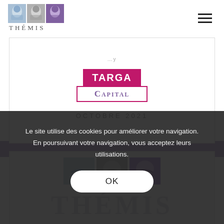[Figure (logo): Thémis logo — three face panels in blue, gray, purple with 'THÉMIS' text below]
[Figure (logo): Targa Capital logo — magenta box with white 'TARGA' text on top, white box with purple 'CAPITAL' text below]
OCTOBRE 2021
[Figure (logo): Thémis logo (partial, second card) — three face panels in blue, gray, purple]
Le site utilise des cookies pour améliorer votre navigation. En poursuivant votre navigation, vous acceptez leurs utilisations.